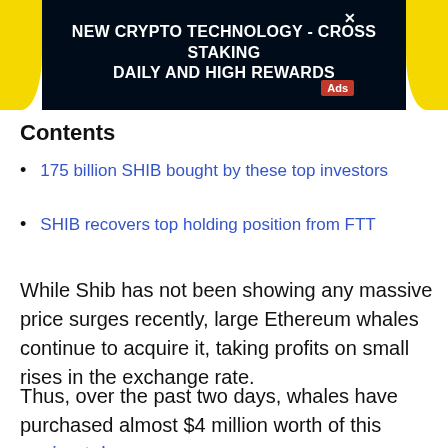[Figure (other): Advertisement banner with dark background and yellow side accents. Text reads: NEW CRYPTO TECHNOLOGY - CROSS STAKING DAILY AND HIGH REWARDS. Orange 'Ads' badge in bottom right.]
Contents
175 billion SHIB bought by these top investors
SHIB recovers top holding position from FTT
While Shib has not been showing any massive price surges recently, large Ethereum whales continue to acquire it, taking profits on small rises in the exchange rate.
Thus, over the past two days, whales have purchased almost $4 million worth of this canine token.